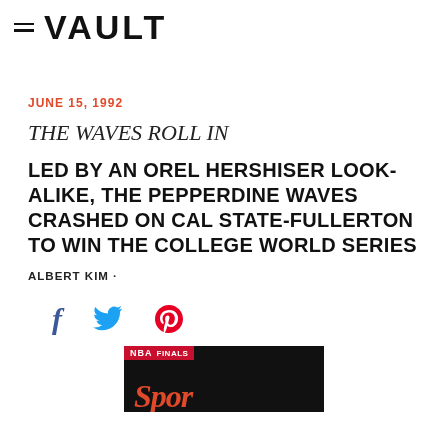≡ VAULT
JUNE 15, 1992
THE WAVES ROLL IN
LED BY AN OREL HERSHISER LOOK-ALIKE, THE PEPPERDINE WAVES CRASHED ON CAL STATE-FULLERTON TO WIN THE COLLEGE WORLD SERIES
ALBERT KIM ·
[Figure (other): Social sharing icons: Facebook (f), Twitter (bird), Pinterest (P)]
[Figure (photo): Partial image of a Sports Illustrated magazine cover showing NBA Finals]